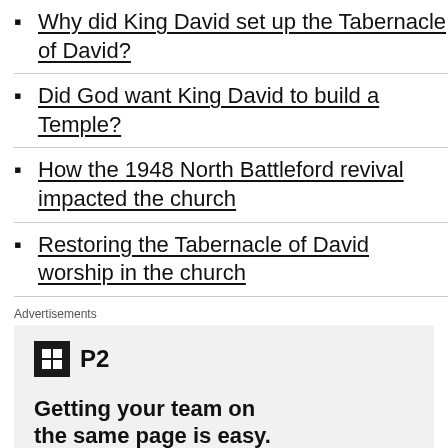Why did King David set up the Tabernacle of David?
Did God want King David to build a Temple?
How the 1948 North Battleford revival impacted the church
Restoring the Tabernacle of David worship in the church
Advertisements
[Figure (infographic): P2 advertisement: logo with dark square icon containing a grid symbol and text 'P2', headline 'Getting your team on the same page is easy. And free.', row of circular avatar photos and a blue plus button]